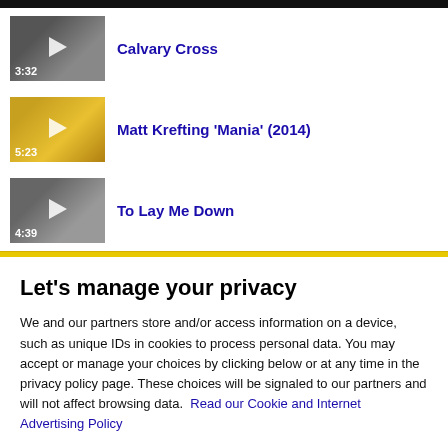[Figure (screenshot): Video thumbnail with play button, duration 3:32, dark gray background]
Calvary Cross
[Figure (screenshot): Video thumbnail with play button, duration 5:23, golden/yellow background]
Matt Krefting 'Mania' (2014)
[Figure (screenshot): Video thumbnail with play button, duration 4:39, dark gray background]
To Lay Me Down
Let's manage your privacy
We and our partners store and/or access information on a device, such as unique IDs in cookies to process personal data. You may accept or manage your choices by clicking below or at any time in the privacy policy page. These choices will be signaled to our partners and will not affect browsing data.  Read our Cookie and Internet Advertising Policy